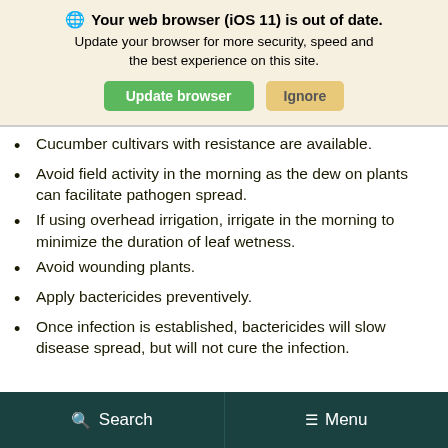[Figure (screenshot): Browser update notification banner with globe icon, bold text 'Your web browser (iOS 11) is out of date.', subtitle 'Update your browser for more security, speed and the best experience on this site.', and two buttons: 'Update browser' (green) and 'Ignore' (tan/yellow).]
Cucumber cultivars with resistance are available.
Avoid field activity in the morning as the dew on plants can facilitate pathogen spread.
If using overhead irrigation, irrigate in the morning to minimize the duration of leaf wetness.
Avoid wounding plants.
Apply bactericides preventively.
Once infection is established, bactericides will slow disease spread, but will not cure the infection.
Search   Menu